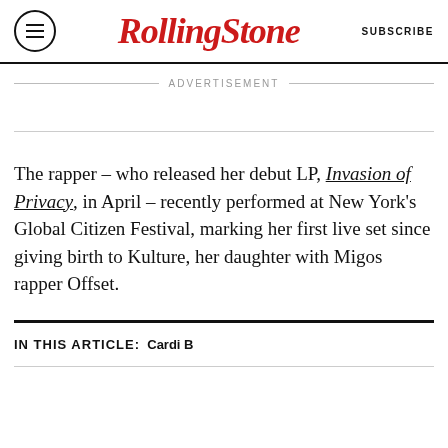Rolling Stone   SUBSCRIBE
ADVERTISEMENT
The rapper – who released her debut LP, Invasion of Privacy, in April – recently performed at New York's Global Citizen Festival, marking her first live set since giving birth to Kulture, her daughter with Migos rapper Offset.
IN THIS ARTICLE: Cardi B